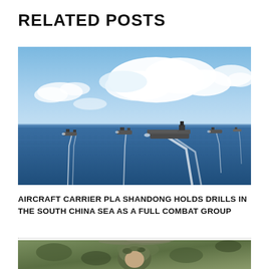RELATED POSTS
[Figure (photo): Aerial view of PLA Navy aircraft carrier Shandong and escort warships sailing in formation on the South China Sea, with blue water and white clouds in the background.]
AIRCRAFT CARRIER PLA SHANDONG HOLDS DRILLS IN THE SOUTH CHINA SEA AS A FULL COMBAT GROUP
[Figure (photo): Partially visible photo of a person wearing military camouflage gear.]